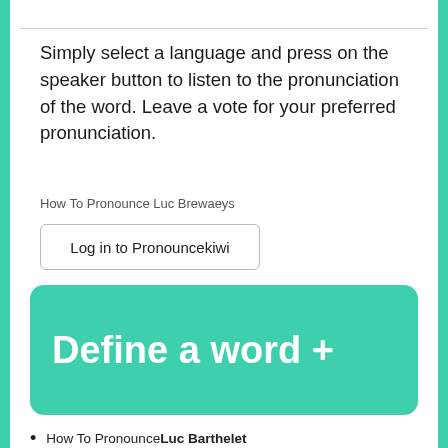Simply select a language and press on the speaker button to listen to the pronunciation of the word. Leave a vote for your preferred pronunciation.
How To Pronounce Luc Brewaeys
Log in to Pronouncekiwi
[Figure (other): Green rounded rectangle button with white bold text reading 'Define a word +']
How To Pronounce Luc Barthelet
How To Pronounce Luc Bat
How To Pronounce Luc Beausoleil
How To Pronounce Luc Belanger